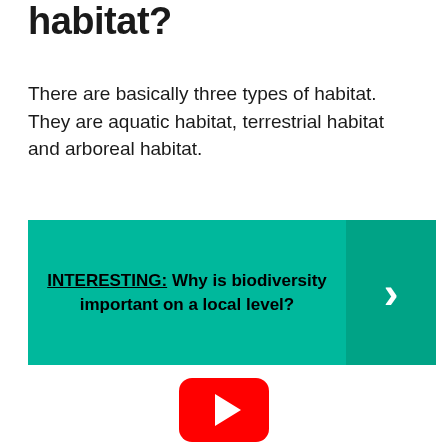habitat?
There are basically three types of habitat. They are aquatic habitat, terrestrial habitat and arboreal habitat.
[Figure (infographic): Teal/green banner with bold text: INTERESTING: Why is biodiversity important on a local level? with a right-arrow chevron on the right side in a slightly darker teal panel.]
[Figure (logo): YouTube play button logo — red rounded rectangle with white triangle play icon in the center.]